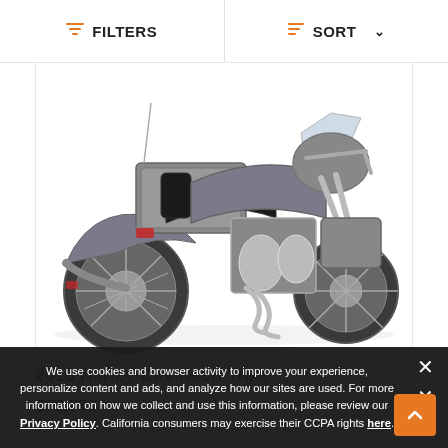FILTERS  SORT
[Figure (photo): Side view of a 2016 Harley-Davidson Trike motorcycle in grey, showing three wheels, windshield, saddlebags, and chrome engine details on a white background]
2016 Harley-Davidson Trike
$32,999
We use cookies and browser activity to improve your experience, personalize content and ads, and analyze how our sites are used. For more information on how we collect and use this information, please review our Privacy Policy. California consumers may exercise their CCPA rights here.